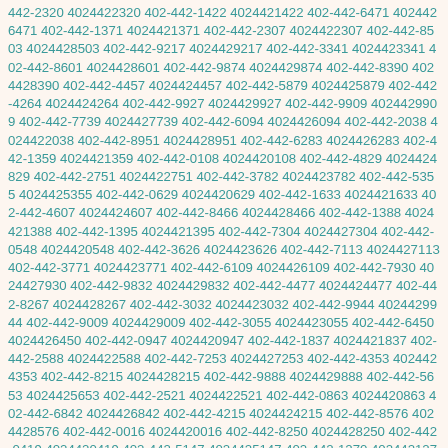442-2320 4024422320 402-442-1422 4024421422 402-442-6471 4024426471 402-442-1371 4024421371 402-442-2307 4024422307 402-442-8503 4024428503 402-442-9217 4024429217 402-442-3341 4024423341 402-442-8601 4024428601 402-442-9874 4024429874 402-442-8390 4024428390 402-442-4457 4024424457 402-442-5879 4024425879 402-442-4264 4024424264 402-442-9927 4024429927 402-442-9909 4024429909 402-442-7739 4024427739 402-442-6094 4024426094 402-442-2038 4024422038 402-442-8951 4024428951 402-442-6283 4024426283 402-442-1359 4024421359 402-442-0108 4024420108 402-442-4829 4024424829 402-442-2751 4024422751 402-442-3782 4024423782 402-442-5355 4024425355 402-442-0629 4024420629 402-442-1633 4024421633 402-442-4607 4024424607 402-442-8466 4024428466 402-442-1388 4024421388 402-442-1395 4024421395 402-442-7304 4024427304 402-442-0548 4024420548 402-442-3626 4024423626 402-442-7113 4024427113 402-442-3771 4024423771 402-442-6109 4024426109 402-442-7930 4024427930 402-442-9832 4024429832 402-442-4477 4024424477 402-442-8267 4024428267 402-442-3032 4024423032 402-442-9944 4024429944 402-442-9009 4024429009 402-442-3055 4024423055 402-442-6450 4024426450 402-442-0947 4024420947 402-442-1837 4024421837 402-442-2588 4024422588 402-442-7253 4024427253 402-442-4353 4024424353 402-442-8215 4024428215 402-442-9888 4024429888 402-442-5653 4024425653 402-442-2521 4024422521 402-442-0863 4024420863 402-442-6842 4024426842 402-442-4215 4024424215 402-442-8576 4024428576 402-442-0016 4024420016 402-442-8250 4024428250 402-442-0419 4024420419 402-442-5147 4024425147 402-442-1270 4024421270 402-442-4137 4024424137 402-442-4805